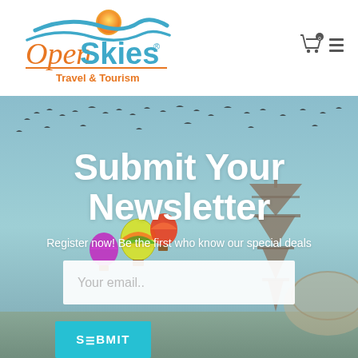[Figure (logo): Open Skies Travel & Tourism logo with orange sun, blue wave, and stylized text]
[Figure (other): Shopping cart icon with '0' badge and hamburger menu icon in header]
[Figure (photo): Hero background photo showing blue sky with birds flying, hot air balloons, and Eiffel Tower]
Submit Your Newsletter
Register now! Be the first who know our special deals
Your email..
SUBMIT